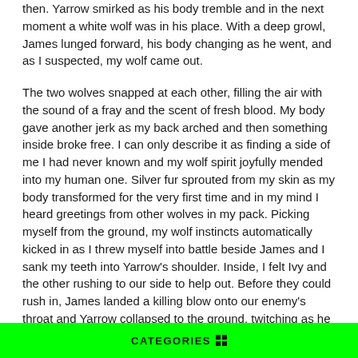then. Yarrow smirked as his body tremble and in the next moment a white wolf was in his place. With a deep growl, James lunged forward, his body changing as he went, and as I suspected, my wolf came out.
The two wolves snapped at each other, filling the air with the sound of a fray and the scent of fresh blood. My body gave another jerk as my back arched and then something inside broke free. I can only describe it as finding a side of me I had never known and my wolf spirit joyfully mended into my human one. Silver fur sprouted from my skin as my body transformed for the very first time and in my mind I heard greetings from other wolves in my pack. Picking myself from the ground, my wolf instincts automatically kicked in as I threw myself into battle beside James and I sank my teeth into Yarrow's shoulder. Inside, I felt Ivy and the other rushing to our side to help out. Before they could rush in, James landed a killing blow onto our enemy's throat and Yarrow collapsed to the ground, twitching as he died. My job was
CATEGORIES